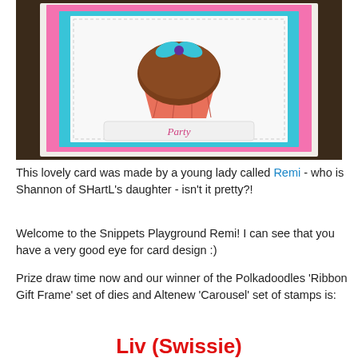[Figure (photo): A handmade greeting card with layered pink and teal/turquoise cardstock, featuring a cupcake with a brown top, a coral/pink wrapper, and a teal bow on top with a purple center gem. A decorative label at the bottom reads 'Party' in pink handwriting.]
This lovely card was made by a young lady called Remi - who is Shannon of SHartL's daughter - isn't it pretty?!
Welcome to the Snippets Playground Remi! I can see that you have a very good eye for card design :)
Prize draw time now and our winner of the Polkadoodles 'Ribbon Gift Frame' set of dies and Altenew 'Carousel' set of stamps is:
Liv (Swissie)